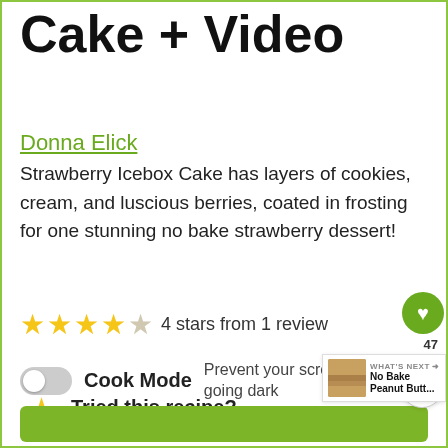Cake + Video
Donna Elick
Strawberry Icebox Cake has layers of cookies, cream, and luscious berries, coated in frosting for one stunning no bake strawberry dessert!
4 stars from 1 review
Cook Mode Prevent your screen from going dark
Tried this recipe? Please comment and r...